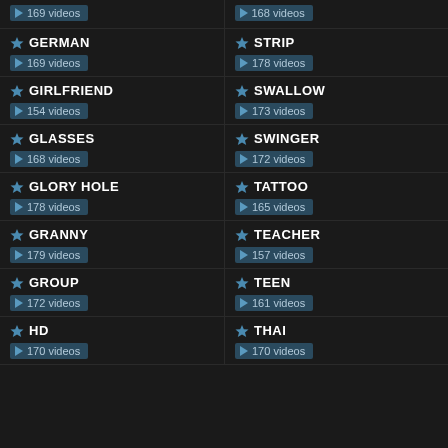169 videos
168 videos
GERMAN — 169 videos
STRIP — 178 videos
GIRLFRIEND — 154 videos
SWALLOW — 173 videos
GLASSES — 168 videos
SWINGER — 172 videos
GLORY HOLE — 178 videos
TATTOO — 165 videos
GRANNY — 179 videos
TEACHER — 157 videos
GROUP — 172 videos
TEEN — 161 videos
HD — 170 videos
THAI — 170 videos